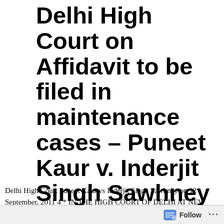Delhi High Court on Affidavit to be filed in maintenance cases – Puneet Kaur v. Inderjit Singh Sawhney – 2011
Delhi High Court Puneet Kaur vs Inderjit Singh Sawhney on 12 September, 2011 4 * IN THE HIGH COURT OF DELHI AT NEW DELHI + CM(M) 79/2011 % Date of decision: 12th
Follow ···